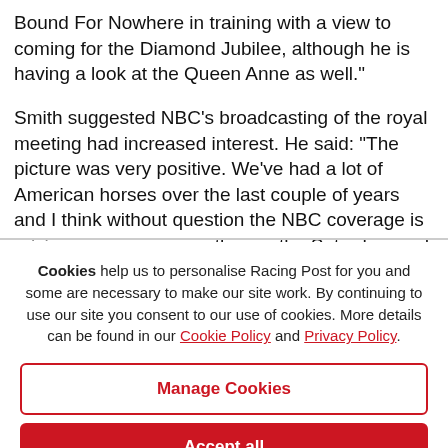Bound For Nowhere in training with a view to coming for the Diamond Jubilee, although he is having a look at the Queen Anne as well."
Smith suggested NBC's broadcasting of the royal meeting had increased interest. He said: "The picture was very positive. We've had a lot of American horses over the last couple of years and I think without question the NBC coverage is raising awareness over there – the Saturday card
Cookies help us to personalise Racing Post for you and some are necessary to make our site work. By continuing to use our site you consent to our use of cookies. More details can be found in our Cookie Policy and Privacy Policy.
Manage Cookies
Accept all
Decline All